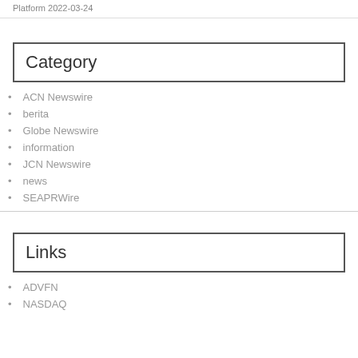Platform 2022-03-24
Category
ACN Newswire
berita
Globe Newswire
information
JCN Newswire
news
SEAPRWire
Links
ADVFN
NASDAQ